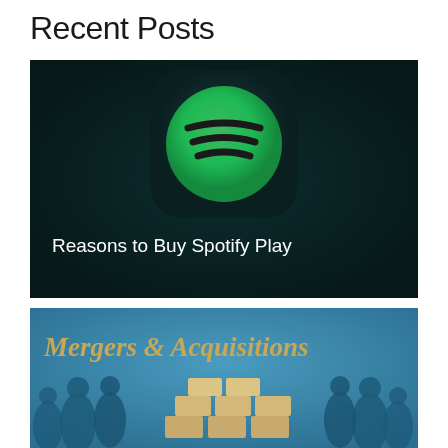Recent Posts
[Figure (photo): Spotify app icon on dark teal background with green circular logo showing three curved lines, overlaid text reads 'Reasons to Buy Spotify Play']
[Figure (photo): Blue background image with silhouettes of business people and stacked boxes/screens, gold text reads 'Mergers & Acquisitions']